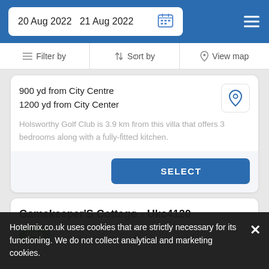20 Aug 2022  21 Aug 2022
Filter by  |  Sort by  |  View map
900 yd from City Centre
1200 yd from City Center
Holsworthy Golf Club is 3.9 km from this villa that offers 3 bedrooms along with a fully-fitted kitchen.
SELECT
Gamekeeper'S Cottage - Ukc4120
Villa
Hotelmix.co.uk uses cookies that are strictly necessary for its functioning. We do not collect analytical and marketing cookies.